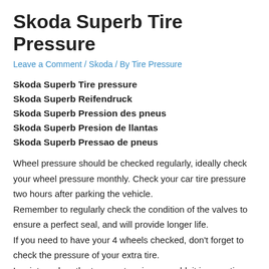Skoda Superb Tire Pressure
Leave a Comment / Skoda / By Tire Pressure
Skoda Superb Tire pressure
Skoda Superb Reifendruck
Skoda Superb Pression des pneus
Skoda Superb Presion de llantas
Skoda Superb Pressao de pneus
Wheel pressure should be checked regularly, ideally check your wheel pressure monthly. Check your car tire pressure two hours after parking the vehicle.
Remember to regularly check the condition of the valves to ensure a perfect seal, and will provide longer life.
If you need to have your 4 wheels checked, don't forget to check the pressure of your extra tire.
In winter, when the temperature is very cold, it is sometimes advisable to raise the inflation pressure.